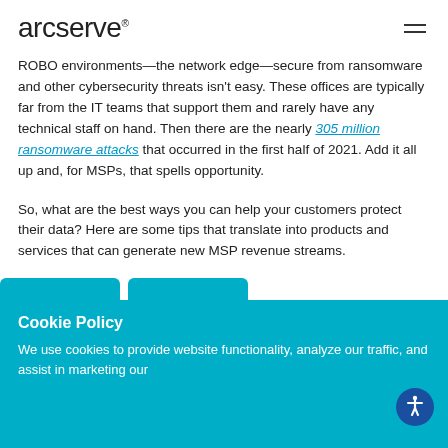arcserve
ROBO environments—the network edge—secure from ransomware and other cybersecurity threats isn't easy. These offices are typically far from the IT teams that support them and rarely have any technical staff on hand. Then there are the nearly 305 million ransomware attacks that occurred in the first half of 2021. Add it all up and, for MSPs, that spells opportunity.
So, what are the best ways you can help your customers protect their data? Here are some tips that translate into products and services that can generate new MSP revenue streams.
Cookie Policy

We use cookies to provide website functionality, analyze our traffic, and assist in marketing our